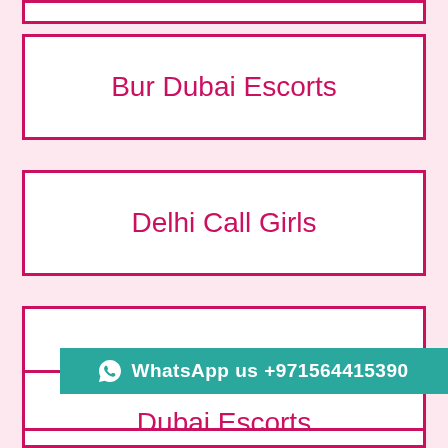Bur Dubai Escorts
Delhi Call Girls
Sharjah Escorts
Dubai Escorts
WhatsApp us +971564415390